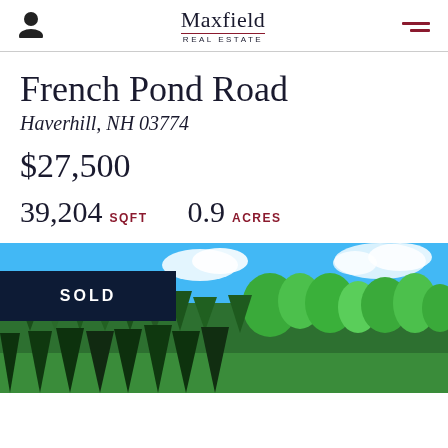Maxfield REAL ESTATE
French Pond Road
Haverhill, NH 03774
$27,500
39,204 SQFT  0.9 ACRES
[Figure (photo): Outdoor photo of a forested property with trees under a blue sky, with a dark navy 'SOLD' banner overlay in the lower left.]